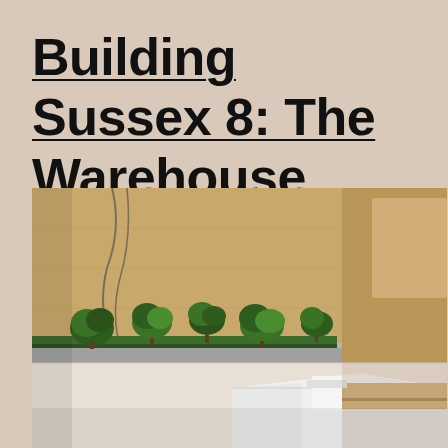Building Sussex 8: The Warehouse
[Figure (photo): A close-up photograph of an architectural scale model showing a warehouse building. The model features small model trees and greenery arranged along a courtyard or street level, with plywood walls forming the building structure. White architectural elements are visible in the foreground.]